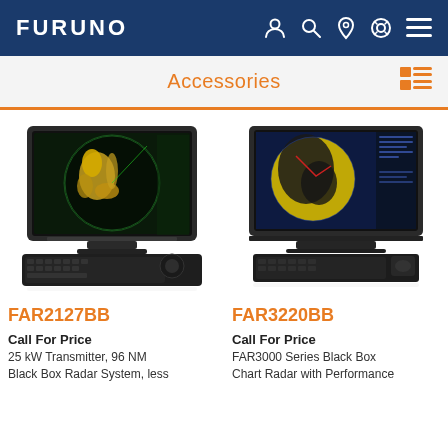FURUNO
Accessories
[Figure (photo): FAR2127BB radar display unit with keyboard controller showing radar sweep with yellow targets on black background]
FAR2127BB
Call For Price
25 kW Transmitter, 96 NM Black Box Radar System, less
[Figure (photo): FAR3220BB chart radar display with keyboard showing yellow circular chart on dark blue background]
FAR3220BB
Call For Price
FAR3000 Series Black Box Chart Radar with Performance